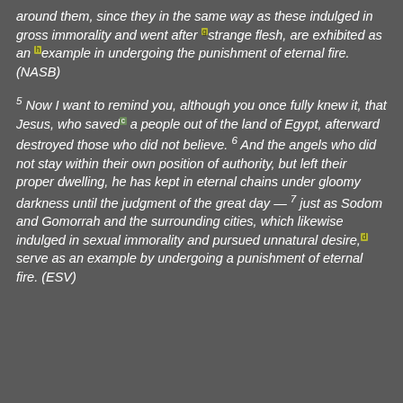around them, since they in the same way as these indulged in gross immorality and went after [g]strange flesh, are exhibited as an [h]example in undergoing the punishment of eternal fire. (NASB)
5 Now I want to remind you, although you once fully knew it, that Jesus, who saved[c] a people out of the land of Egypt, afterward destroyed those who did not believe. 6 And the angels who did not stay within their own position of authority, but left their proper dwelling, he has kept in eternal chains under gloomy darkness until the judgment of the great day — 7 just as Sodom and Gomorrah and the surrounding cities, which likewise indulged in sexual immorality and pursued unnatural desire,[d] serve as an example by undergoing a punishment of eternal fire. (ESV)